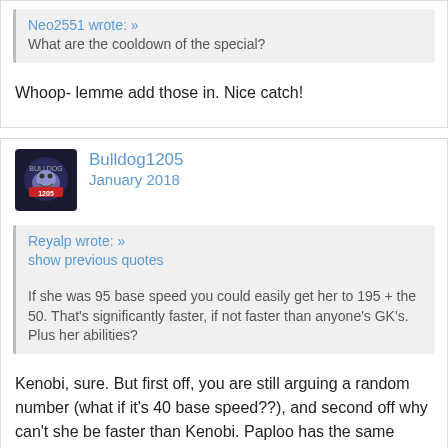Neo2551 wrote: »
What are the cooldown of the special?
Whoop- lemme add those in. Nice catch!
Bulldog1205
January 2018
Reyalp wrote: »
show previous quotes

If she was 95 base speed you could easily get her to 195 + the 50. That's significantly faster, if not faster than anyone's GK's. Plus her abilities?
Kenobi, sure. But first off, you are still arguing a random number (what if it's 40 base speed??), and second off why can't she be faster than Kenobi. Paploo has the same